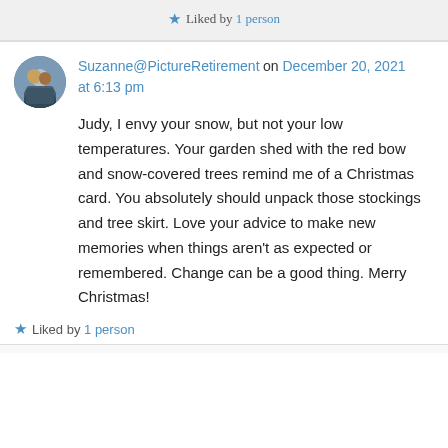Liked by 1 person
Suzanne@PictureRetirement on December 20, 2021 at 6:13 pm
[Figure (photo): Circular avatar photo of two people, a man and a woman, outdoors]
Judy, I envy your snow, but not your low temperatures. Your garden shed with the red bow and snow-covered trees remind me of a Christmas card. You absolutely should unpack those stockings and tree skirt. Love your advice to make new memories when things aren't as expected or remembered. Change can be a good thing. Merry Christmas!
Liked by 1 person